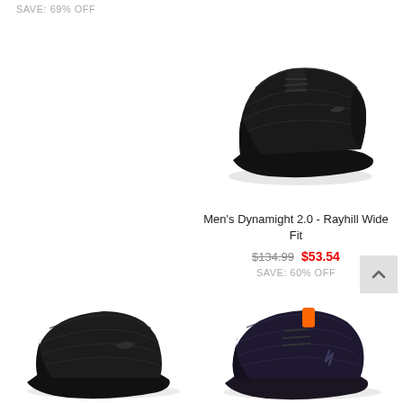SAVE: 69% OFF
[Figure (photo): Black athletic sneaker (Men's Dynamight 2.0 - Rayhill Wide Fit) shown from side angle on white background]
Men's Dynamight 2.0 - Rayhill Wide Fit
$134.99  $53.54
SAVE: 60% OFF
[Figure (photo): Black slip-on athletic shoe shown from side angle on white background]
[Figure (photo): Dark navy/black lace-up athletic sneaker with orange accent shown from side angle on white background]